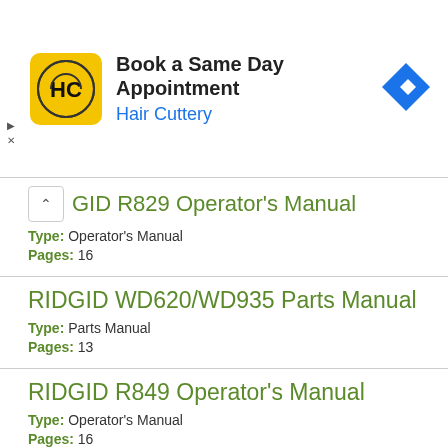[Figure (screenshot): Hair Cuttery advertisement banner: yellow logo with HC letters, title 'Book a Same Day Appointment', subtitle 'Hair Cuttery' in blue, blue diamond arrow icon on right]
GID R829 Operator's Manual
Type: Operator's Manual
Pages: 16
RIDGID WD620/WD935 Parts Manual
Type: Parts Manual
Pages: 13
RIDGID R849 Operator's Manual
Type: Operator's Manual
Pages: 16